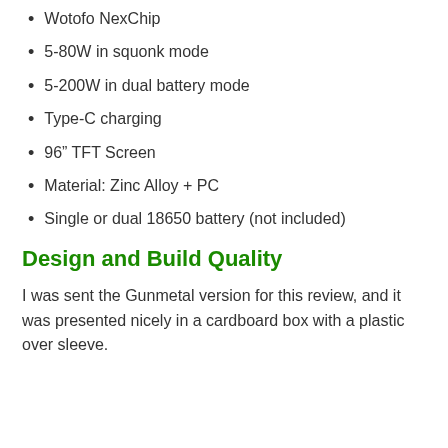Wotofo NexChip
5-80W in squonk mode
5-200W in dual battery mode
Type-C charging
96” TFT Screen
Material: Zinc Alloy + PC
Single or dual 18650 battery (not included)
Design and Build Quality
I was sent the Gunmetal version for this review, and it was presented nicely in a cardboard box with a plastic over sleeve.